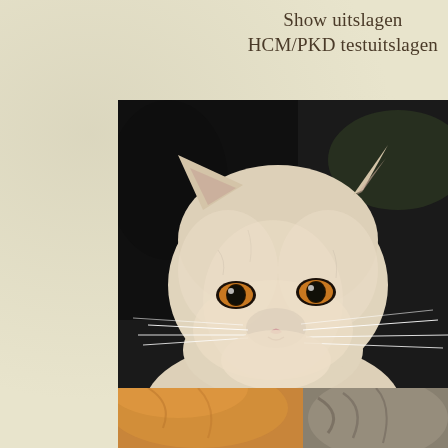Show uitslagen
HCM/PKD testuitslagen
[Figure (photo): Close-up portrait of a cream/white British Shorthair cat with amber/orange eyes and long whiskers, sitting in front of a dark background. The cat has a flat face, round head, and fluffy white-cream fur.]
[Figure (photo): Partial view of cats at the bottom of the page — an orange/ginger cat and a tabby cat visible from the top of the frame.]